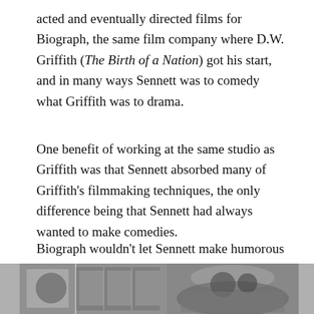acted and eventually directed films for Biograph, the same film company where D.W. Griffith (The Birth of a Nation) got his start, and in many ways Sennett was to comedy what Griffith was to drama.
One benefit of working at the same studio as Griffith was that Sennett absorbed many of Griffith's filmmaking techniques, the only difference being that Sennett had always wanted to make comedies.
Biograph wouldn't let Sennett make humorous films so he founded his own independent company, Keystone Films, which may be the most important company in the history of comedy.
[Figure (photo): Two black and white photographs side by side at the bottom of the page, partially visible. Left photo appears to show interior scene with windows; right photo shows an outdoor scene.]